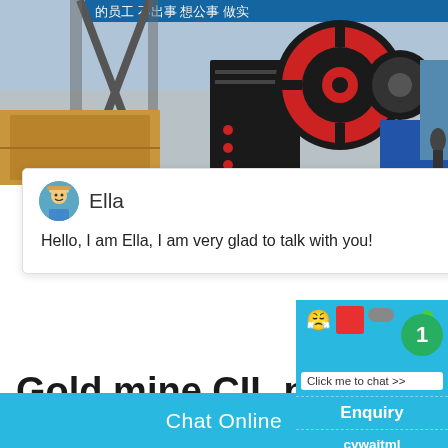[Figure (photo): Industrial factory interior showing a jaw crusher machine with large red and black flywheel, Chinese text banners visible in background]
Ella
Hello, I am Ella, I am very glad to talk with you!
Gold mine CIL process carbon leaching meth...
Chat Online
1
Click me to chat >>
Enquiry
cywaitml@gmail.com